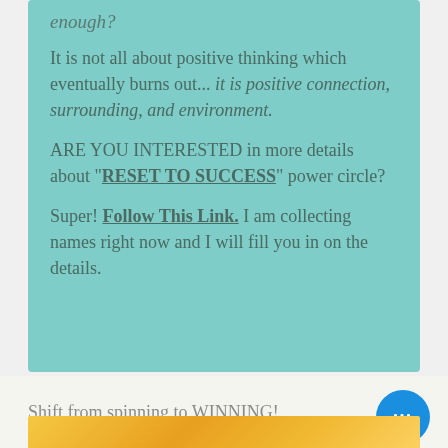enough?
It is not all about positive thinking which eventually burns out...  it is positive connection, surrounding, and environment.
ARE YOU INTERESTED in more details about "RESET TO SUCCESS" power circle?
Super!  Follow This Link. I am collecting names right now and I will fill you in on the details.
Shift from spinning to WINNING!
[Figure (photo): Partial image visible at bottom of page, appears to be a warm-toned yellow/orange photograph, likely floral or food related]